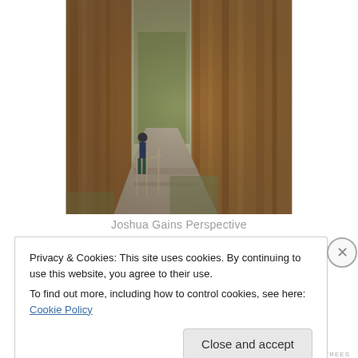[Figure (photo): A person standing on a path next to massive redwood or sequoia trees in a forest. The photo has a slightly faded, vintage-style look. Green foliage is visible in the background.]
Joshua Gains Perspective
Privacy & Cookies: This site uses cookies. By continuing to use this website, you agree to their use.
To find out more, including how to control cookies, see here: Cookie Policy
Close and accept